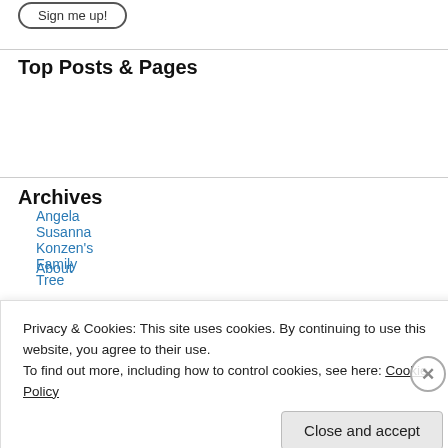[Figure (other): Sign me up button with rounded rectangle border]
Top Posts & Pages
Angela Susanna Konzen's Family Tree
About
Archives
February 2022
January 2022
Privacy & Cookies: This site uses cookies. By continuing to use this website, you agree to their use.
To find out more, including how to control cookies, see here: Cookie Policy
WORDPRESS.COM